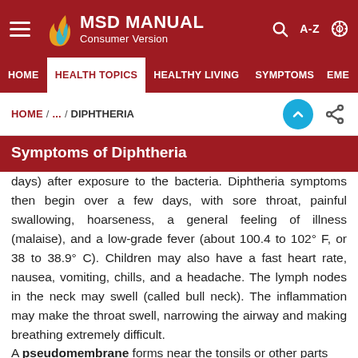MSD MANUAL Consumer Version
HOME | HEALTH TOPICS | HEALTHY LIVING | SYMPTOMS | EME
HOME / ... / DIPHTHERIA
Symptoms of Diphtheria
days) after exposure to the bacteria. Diphtheria symptoms then begin over a few days, with sore throat, painful swallowing, hoarseness, a general feeling of illness (malaise), and a low-grade fever (about 100.4 to 102° F, or 38 to 38.9° C). Children may also have a fast heart rate, nausea, vomiting, chills, and a headache. The lymph nodes in the neck may swell (called bull neck). The inflammation may make the throat swell, narrowing the airway and making breathing extremely difficult.
A pseudomembrane forms near the tonsils or other parts